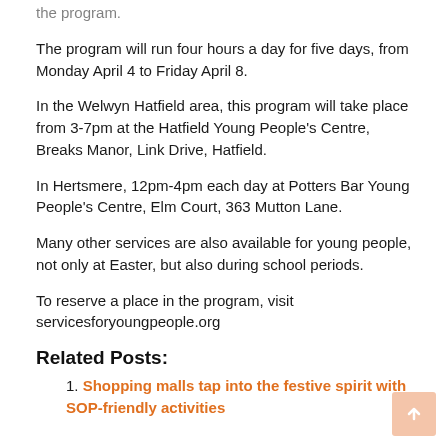the program.
The program will run four hours a day for five days, from Monday April 4 to Friday April 8.
In the Welwyn Hatfield area, this program will take place from 3-7pm at the Hatfield Young People’s Centre, Breaks Manor, Link Drive, Hatfield.
In Hertsmere, 12pm-4pm each day at Potters Bar Young People’s Centre, Elm Court, 363 Mutton Lane.
Many other services are also available for young people, not only at Easter, but also during school periods.
To reserve a place in the program, visit servicesforyoungpeople.org
Related Posts:
Shopping malls tap into the festive spirit with SOP-friendly activities